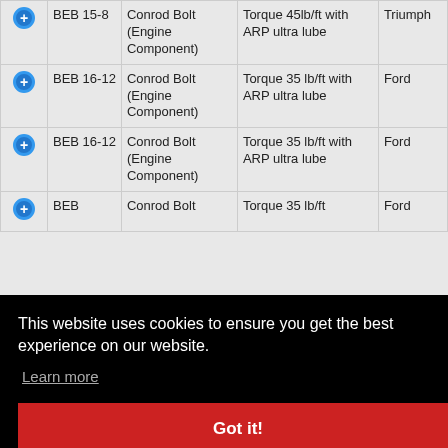|  | Code | Description | Specification | Brand |
| --- | --- | --- | --- | --- |
| + | BEB 15-8 | Conrod Bolt (Engine Component) | Torque 45lb/ft with ARP ultra lube | Triumph |
| + | BEB 16-12 | Conrod Bolt (Engine Component) | Torque 35 lb/ft with ARP ultra lube | Ford |
| + | BEB 16-12 | Conrod Bolt (Engine Component) | Torque 35 lb/ft with ARP ultra lube | Ford |
| + | BEB ... | Conrod Bolt | Torque 35 lb/ft | Ford |
This website uses cookies to ensure you get the best experience on our website.
Learn more
Got it!